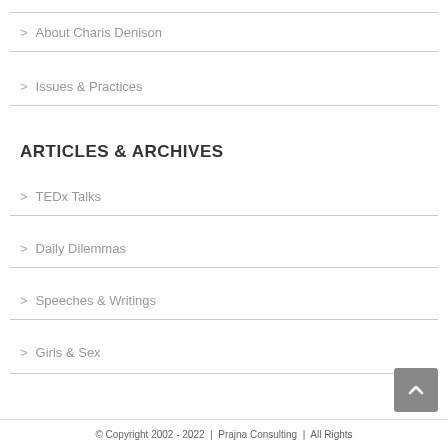> About Charis Denison
> Issues & Practices
ARTICLES & ARCHIVES
> TEDx Talks
> Daily Dilemmas
> Speeches & Writings
> Girls & Sex
© Copyright 2002 - 2022  |  Prajna Consulting  |  All Rights